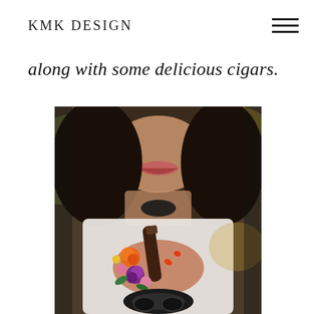KMK DESIGN
along with some delicious cigars.
[Figure (photo): Close-up photo of a smiling woman with dark hair holding a cigar decorated with colorful flowers (orange roses, purple ranunculus, pink blooms) and a dark ornamental ring or accessory. She is wearing a white top and dark necklace. Her nails are painted orange-red.]